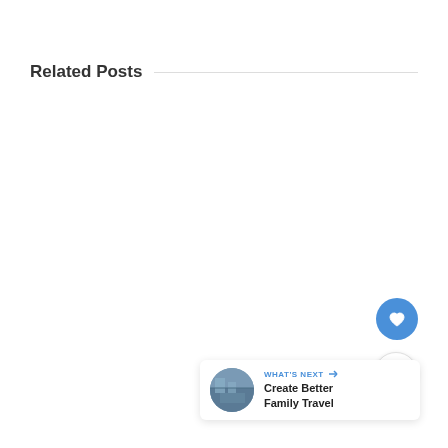Related Posts
[Figure (other): Blue circular like/heart button floating on the right side]
[Figure (other): White circular share button with share icon floating on the right side]
[Figure (other): What's Next card with thumbnail image showing Create Better Family Travel]